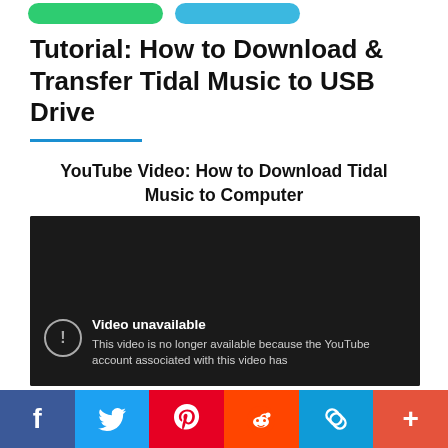Tutorial: How to Download & Transfer Tidal Music to USB Drive
YouTube Video: How to Download Tidal Music to Computer
[Figure (screenshot): Embedded YouTube video player showing error: 'Video unavailable. This video is no longer available because the YouTube account associated with this video has']
Social share bar with Facebook, Twitter, Pinterest, Reddit, Copy link, More buttons